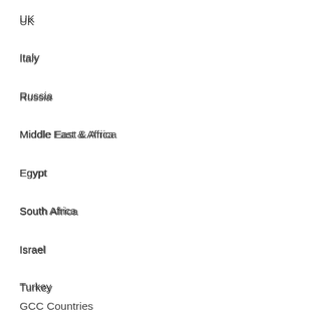UK
Italy
Russia
Middle East & Africa
Egypt
South Africa
Israel
Turkey
GCC Countries